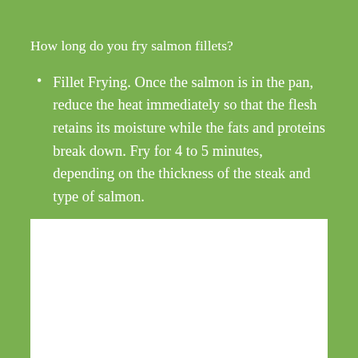How long do you fry salmon fillets?
Fillet Frying. Once the salmon is in the pan, reduce the heat immediately so that the flesh retains its moisture while the fats and proteins break down. Fry for 4 to 5 minutes, depending on the thickness of the steak and type of salmon.
[Figure (photo): White rectangular image placeholder area below the text content]